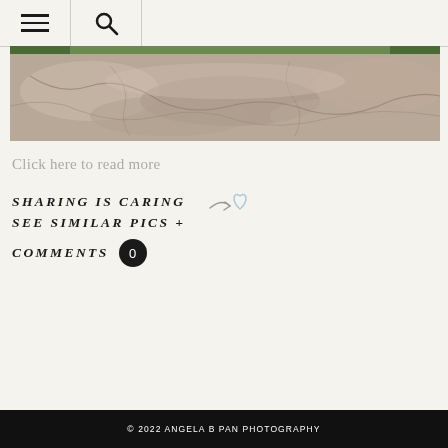Navigation menu and search icons
[Figure (photo): Wide panoramic photo of large rocky outcrop with stone surface and small trees/vegetation visible at the top edges]
Click here to read more
SHARING IS CARING
SEE SIMILAR PICS +
COMMENTS 0
© 2022 ANGELA B PAN PHOTOGRAPHY